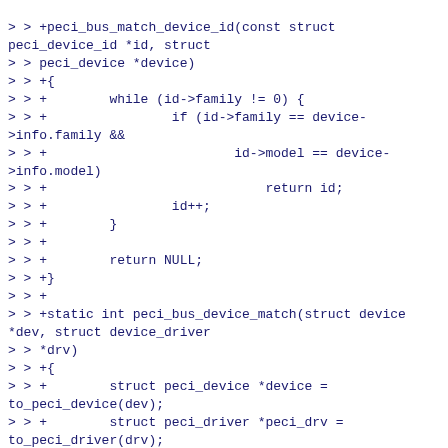> > +peci_bus_match_device_id(const struct peci_device_id *id, struct
> > peci_device *device)
> > +{
> > +        while (id->family != 0) {
> > +                if (id->family == device->info.family &&
> > +                        id->model == device->info.model)
> > +                            return id;
> > +                id++;
> > +        }
> > +
> > +        return NULL;
> > +}
> > +
> > +static int peci_bus_device_match(struct device *dev, struct device_driver
> > *drv)
> > +{
> > +        struct peci_device *device =
to_peci_device(dev);
> > +        struct peci_driver *peci_drv =
to_peci_driver(drv);
> > +
> > +        if (dev->type != &peci_device_type)
> > +                return 0;
> > +
> > +        if (peci_bus_match_device_id(peci_drv->id_table, device))
> > +                return 1;